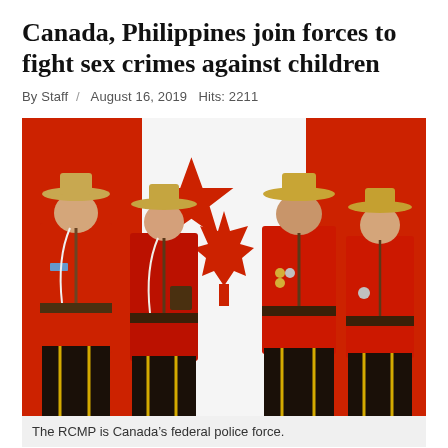Canada, Philippines join forces to fight sex crimes against children
By Staff / August 16, 2019 Hits: 2211
[Figure (photo): Four RCMP officers in red serge uniforms and wide-brimmed Stetson hats standing in front of a Canadian flag backdrop]
The RCMP is Canada's federal police force.